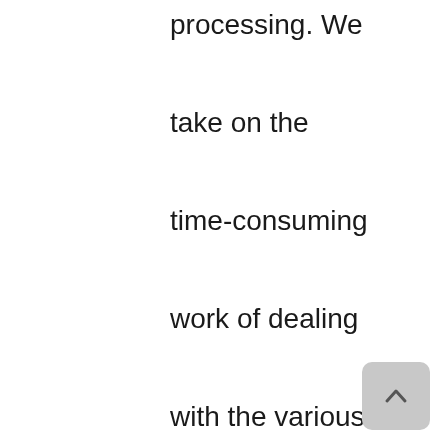processing. We take on the time-consuming work of dealing with the various insurance companies. By setting up reminders for things like upcoming URs,